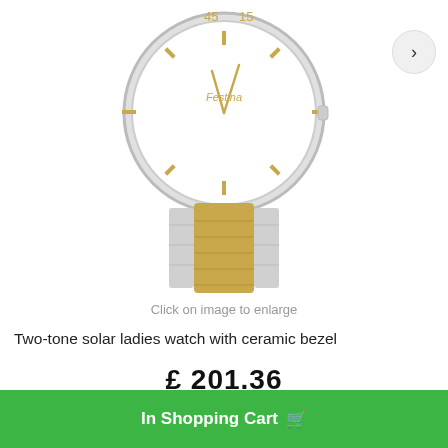[Figure (photo): Two-tone ladies wristwatch with white ceramic bezel and gold/silver bracelet, showing watch face with gold hour markers and hands, numbers 45, 15, 30 visible on bezel/dial]
Click on image to enlarge
Two-tone solar ladies watch with ceramic bezel
£ 201.36
In Shopping Cart